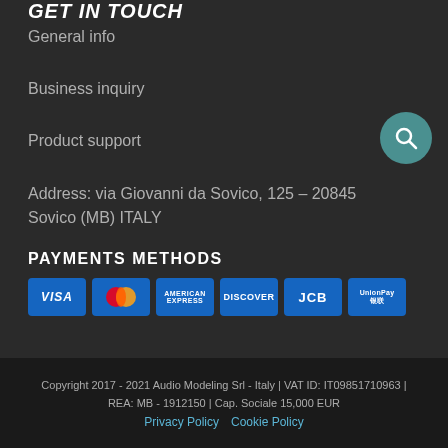GET IN TOUCH
General info
Business inquiry
Product support
Address: via Giovanni da Sovico, 125 - 20845 Sovico (MB) ITALY
PAYMENTS METHODS
[Figure (logo): Payment method logos: VISA, Mastercard, American Express, Discover, JCB, UnionPay]
Copyright 2017 - 2021 Audio Modeling Srl - Italy | VAT ID: IT09851710963 | REA: MB - 1912150 | Cap. Sociale 15,000 EUR
Privacy Policy   Cookie Policy